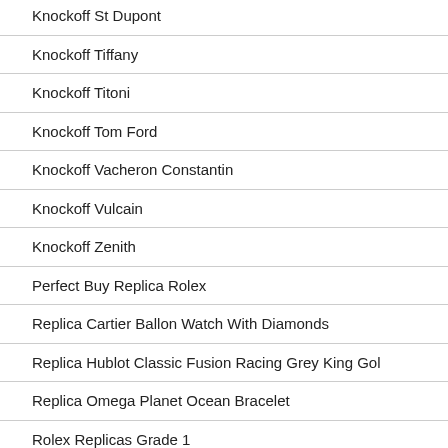Knockoff St Dupont
Knockoff Tiffany
Knockoff Titoni
Knockoff Tom Ford
Knockoff Vacheron Constantin
Knockoff Vulcain
Knockoff Zenith
Perfect Buy Replica Rolex
Replica Cartier Ballon Watch With Diamonds
Replica Hublot Classic Fusion Racing Grey King Gol
Replica Omega Planet Ocean Bracelet
Rolex Replicas Grade 1